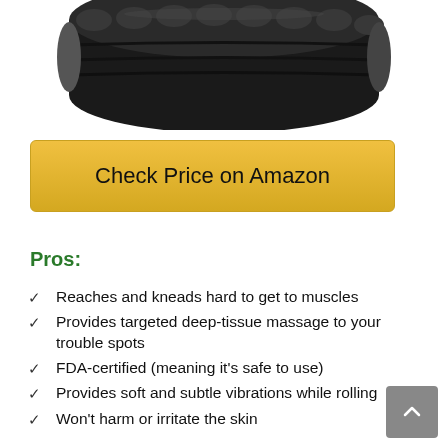[Figure (photo): Partial view of a black foam roller with ridged texture, cropped at the top of the page]
Check Price on Amazon
Pros:
Reaches and kneads hard to get to muscles
Provides targeted deep-tissue massage to your trouble spots
FDA-certified (meaning it's safe to use)
Provides soft and subtle vibrations while rolling
Won't harm or irritate the skin